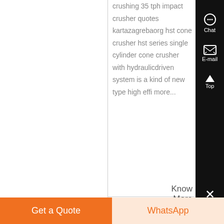crushing 35 tph impact crusher quotes kartazagrebaorg hst cone crusher hst series single cylinder cone crusher with hydraulicdriven system is a kind of new type high effi more...
Know More
Chat
E-mail
Top
Get a Quote
WhatsApp